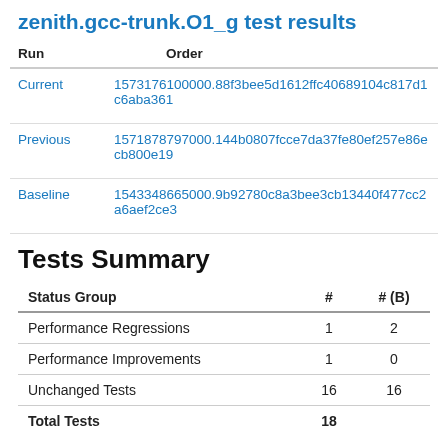zenith.gcc-trunk.O1_g test results
| Run | Order |
| --- | --- |
| Current | 1573176100000.88f3bee5d1612ffc40689104c817d1c6aba361... |
| Previous | 1571878797000.144b0807fcce7da37fe80ef257e86ecb800e19... |
| Baseline | 1543348665000.9b92780c8a3bee3cb13440f477cc2a6aef2ce3... |
Tests Summary
| Status Group | # | # (B) |
| --- | --- | --- |
| Performance Regressions | 1 | 2 |
| Performance Improvements | 1 | 0 |
| Unchanged Tests | 16 | 16 |
| Total Tests | 18 |  |